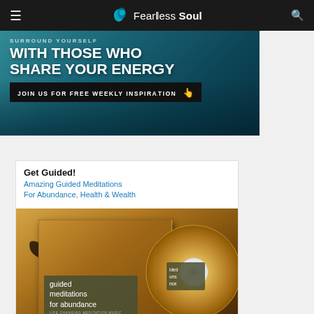Fearless Soul
[Figure (illustration): Promotional banner for Fearless Soul with teal background showing silhouetted figures. Text reads: 'WITH THOSE WHO SHARE YOUR ENERGY - JOIN US FOR FREE WEEKLY INSPIRATION' with a hand cursor icon.]
Get Guided!
Amazing Guided Meditations For Abundance, Health & Wealth
[Figure (photo): Product image of 'Guided Meditations for Abundance' CD/album. Shows a jewel case and disc with a silhouette of a person meditating at sunset on a beach.]
WATCH FREE ON YOUTUBE